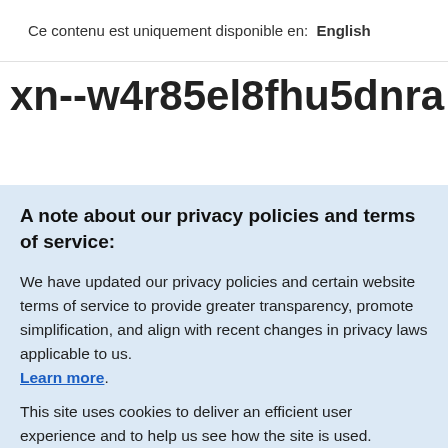Ce contenu est uniquement disponible en:  English
xn--w4r85el8fhu5dnra Registry
A note about our privacy policies and terms of service:
We have updated our privacy policies and certain website terms of service to provide greater transparency, promote simplification, and align with recent changes in privacy laws applicable to us. Learn more.
This site uses cookies to deliver an efficient user experience and to help us see how the site is used. Learn more.  OK